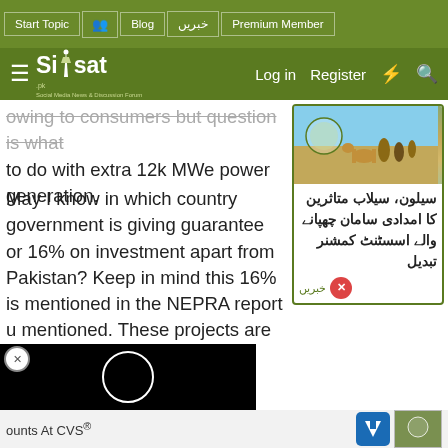Siasat.pk — Social Media News & Discussion Forum navigation bar with: Start Topic, Blog, خبریں, Premium Member, Log in, Register
[Figure (screenshot): Siasat.pk website header with green navigation bar showing: Start Topic, group icon, Blog, خبریں, Premium Member; and main header with hamburger menu, Siasat logo, Log in, Register, lightning bolt icon, search icon]
owing to consumers but question is what to do with extra 12k MWe power generation.
May I know in which country government is giving guarantee or 16% on investment apart from Pakistan? Keep in mind this 16% is mentioned in the NEPRA report u mentioned. These projects are on 25% investment and 75% loan. Let's assume if the cost of a project is Rs 100 the Rs 25 is the investment. Let's assume if I report then I can an and will
[Figure (photo): Sidebar card with image of landscape/people scene and Urdu text: سیلون، سیلاب متاثرین کا امدادی سامان چھپانے والے اسسٹنٹ کمشنر تبدیل, with خبریں label]
[Figure (screenshot): Black video player overlay with white circle play indicator]
ounts At CVS®
[Figure (other): Blue navigation arrow icon (road sign style)]